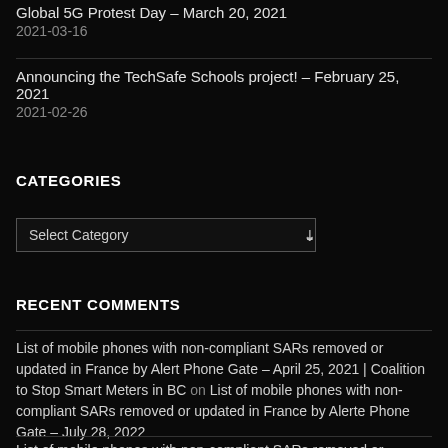Global 5G Protest Day – March 20, 2021
2021-03-16
Announcing the TechSafe Schools project! – February 25, 2021
2021-02-26
CATEGORIES
Select Category
RECENT COMMENTS
List of mobile phones with non-compliant SARs removed or updated in France by Alert Phone Gate – April 25, 2021 | Coalition to Stop Smart Meters in BC on List of mobile phones with non-compliant SARs removed or updated in France by Alerte Phone Gate – July 28, 2022
List of mobile phones with non-compliant SARs removed or updated